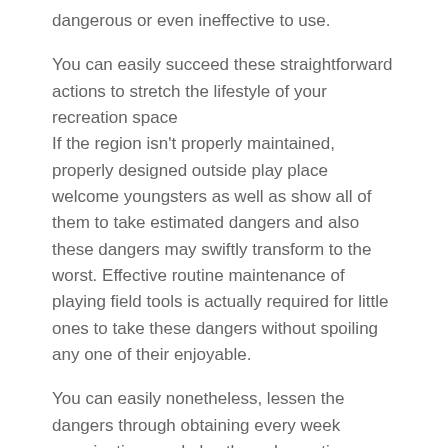dangerous or even ineffective to use.
You can easily succeed these straightforward actions to stretch the lifestyle of your recreation space
If the region isn't properly maintained, properly designed outside play place welcome youngsters as well as show all of them to take estimated dangers and also these dangers may swiftly transform to the worst. Effective routine maintenance of playing field tools is actually required for little ones to take these dangers without spoiling any one of their enjoyable.
You can easily nonetheless, lessen the dangers through obtaining every week examinations and also through creating certain that the individuals liable for the examinations recognize specifically what elements and also places to appear out for the very most. Weekly assessments of recreation space devices are actually suggested which make certain that all loss, also minor ones, are actually taken note and also fixed quickly.